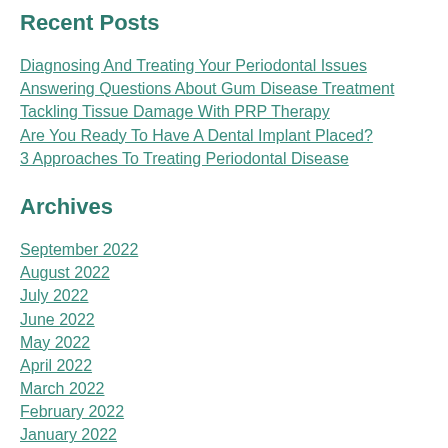Recent Posts
Diagnosing And Treating Your Periodontal Issues
Answering Questions About Gum Disease Treatment
Tackling Tissue Damage With PRP Therapy
Are You Ready To Have A Dental Implant Placed?
3 Approaches To Treating Periodontal Disease
Archives
September 2022
August 2022
July 2022
June 2022
May 2022
April 2022
March 2022
February 2022
January 2022
December 2021
November 2021